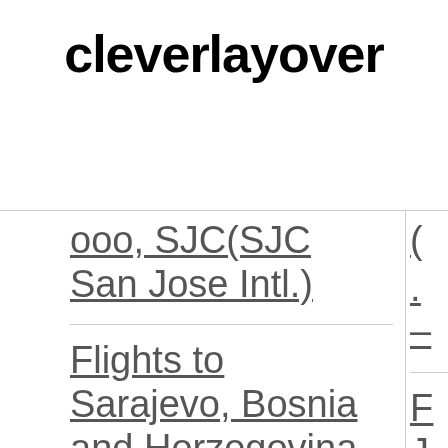cleverlayover
..., SJC(SJC San Jose Intl.)
Flights to Sarajevo, Bosnia and Herzegovina (SJJ-Butmir)